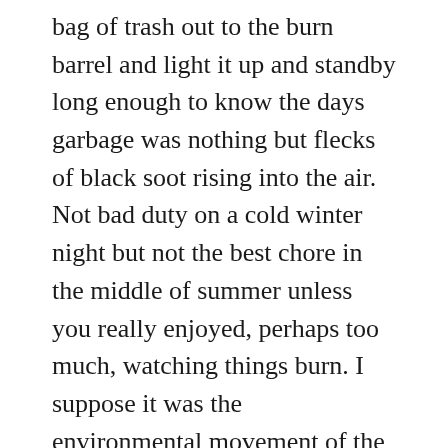bag of trash out to the burn barrel and light it up and standby long enough to know the days garbage was nothing but flecks of black soot rising into the air. Not bad duty on a cold winter night but not the best chore in the middle of summer unless you really enjoyed, perhaps too  much, watching things burn. I suppose it was the environmental movement of the 70's which brought an end to burn barrels and a new suburban glimpse into city life, the appearance of garbage trucks! Still, life revolved, to some degree over the trash pick-up. My Mom would only fry chicken on the nights before trash pick-up so as to not have the bones lying in the garbage for several days...